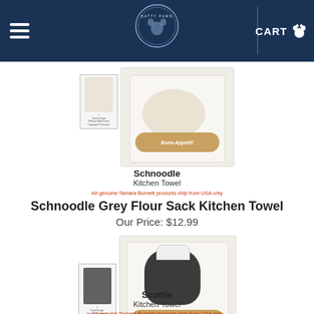BATTY PAWS | CART
[Figure (photo): Schnoodle kitchen towel product image showing a white flour sack towel with a dog wearing chef hat and Bone Appetit bone graphic, with small thumbnail and watermark notice]
Schnoodle
Kitchen Towel
All genuine Tamara Burnett products ship from USA only
Schnoodle Grey Flour Sack Kitchen Towel
Our Price: $12.99
[Figure (photo): Scottie kitchen towel product image showing a white flour sack towel with a black Scottie dog wearing chef hat and Bone Appetit bone graphic, with small thumbnail and watermark notice]
Scottie
Kitchen Towel
All genuine Tamara Burnett products ship from USA only